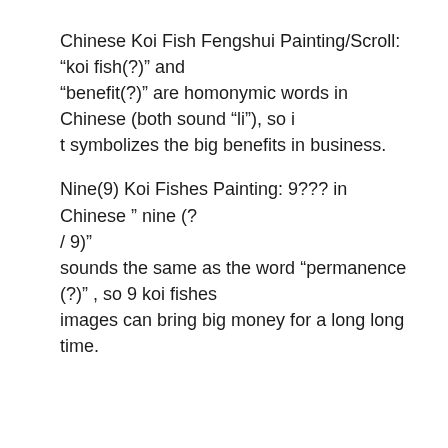Chinese Koi Fish Fengshui Painting/Scroll: “koi fish(?)” and “benefit(?)” are homonymic words in Chinese (both sound “li”), so i t symbolizes the big benefits in business.
Nine(9) Koi Fishes Painting: 9??? in Chinese ” nine (? / 9)” sounds the same as the word “permanence (?)” , so 9 koi fishes images can bring big money for a long long time.